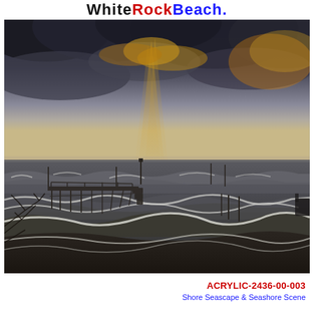WhiteRockBeach.
[Figure (photo): HDR photograph of a stormy beach scene. Dark dramatic clouds fill the sky with golden light rays breaking through. Rough grey choppy ocean waves. A wooden pier/jetty structure is visible mid-left. Rocky coastline in the foreground with crashing white waves. Bare branches visible at lower left. Several posts/pilings in the water.]
ACRYLIC-2436-00-003
Shore Seascape & Seashore Scene